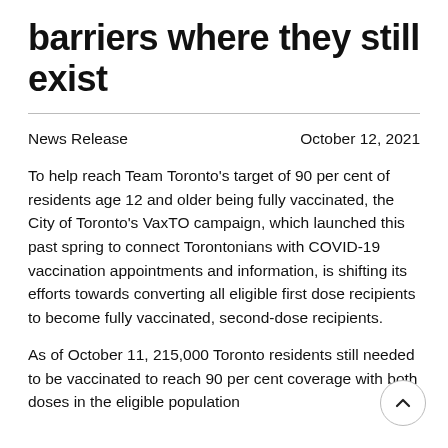barriers where they still exist
News Release
October 12, 2021
To help reach Team Toronto's target of 90 per cent of residents age 12 and older being fully vaccinated, the City of Toronto's VaxTO campaign, which launched this past spring to connect Torontonians with COVID-19 vaccination appointments and information, is shifting its efforts towards converting all eligible first dose recipients to become fully vaccinated, second-dose recipients.
As of October 11, 215,000 Toronto residents still needed to be vaccinated to reach 90 per cent coverage with both doses in the eligible population